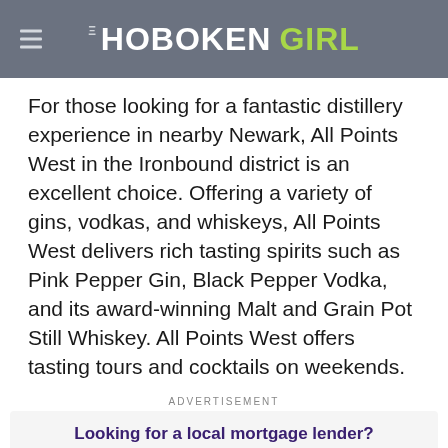THE HOBOKEN GIRL
For those looking for a fantastic distillery experience in nearby Newark, All Points West in the Ironbound district is an excellent choice. Offering a variety of gins, vodkas, and whiskeys, All Points West delivers rich tasting spirits such as Pink Pepper Gin, Black Pepper Vodka, and its award-winning Malt and Grain Pot Still Whiskey. All Points West offers tasting tours and cocktails on weekends.
ADVERTISEMENT
[Figure (infographic): Advertisement banner reading 'Looking for a local mortgage lender? Call us today!' with loanDepot and The Kashian Team logos below.]